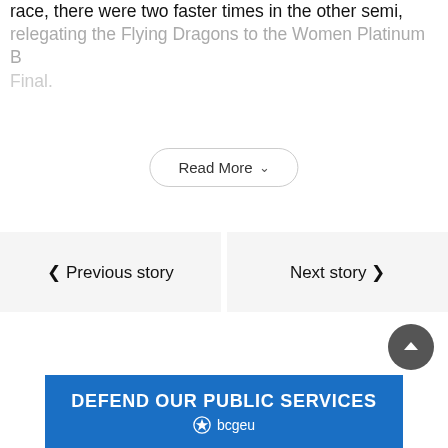race, there were two faster times in the other semi, relegating the Flying Dragons to the Women Platinum B Final.
Read More
< Previous story
Next story >
[Figure (other): Back to top scroll button (dark circular button with upward chevron arrow)]
[Figure (other): BCGEU banner: DEFEND OUR PUBLIC SERVICES with bcgeu star logo]